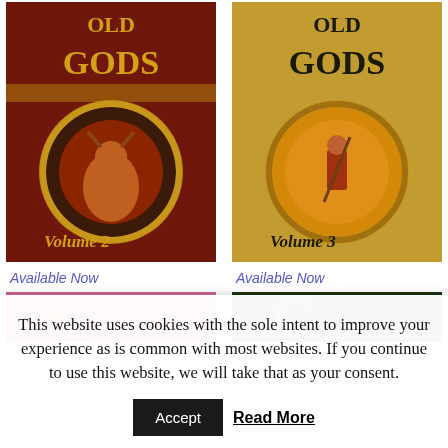[Figure (illustration): Book cover: Old Gods Volume 2, dark red/maroon background with golden Greek-pattern border circle containing a minotaur-like creature, golden decorative title text]
[Figure (illustration): Book cover: Old Gods Volume 3, golden/amber background with golden Greek-pattern border circle containing a warrior figure, golden decorative title text]
Available Now
Available Now
[Figure (illustration): Partial book cover with pink/magenta background, partially visible golden letter G]
[Figure (illustration): Partial book cover with dark green background, partially visible golden letter G]
This website uses cookies with the sole intent to improve your experience as is common with most websites. If you continue to use this website, we will take that as your consent.
Accept
Read More